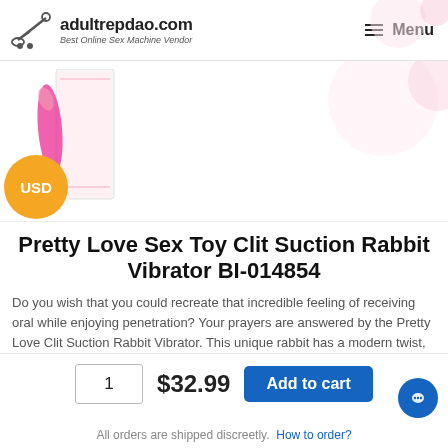adultrepdao.com – Best Online Sex Machine Vendor
[Figure (photo): Product thumbnail image of Pretty Love Clit Suction Rabbit Vibrator in pink with product box, with an orange USD badge circle overlay]
Pretty Love Sex Toy Clit Suction Rabbit Vibrator BI-014854
Do you wish that you could recreate that incredible feeling of receiving oral while enjoying penetration? Your prayers are answered by the Pretty Love Clit Suction Rabbit Vibrator. This unique rabbit has a modern twist, featuring a 'sucking' clitoral
1  $32.99  Add to cart
All orders are shipped discreetly. How to order?